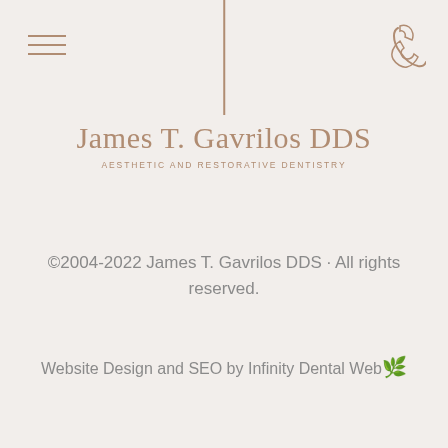[Figure (other): Hamburger menu icon (three horizontal lines) in tan/brown color, top left corner]
[Figure (other): Vertical dividing line in tan/brown color, centered at top of page]
[Figure (other): Phone handset icon in tan/brown color, top right corner]
James T. Gavrilos DDS
AESTHETIC AND RESTORATIVE DENTISTRY
©2004-2022 James T. Gavrilos DDS · All rights reserved.
Website Design and SEO by Infinity Dental Web 🌐